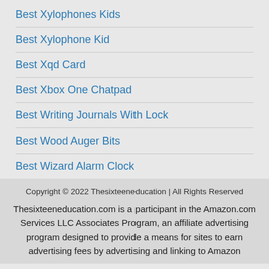Best Xylophones Kids
Best Xylophone Kid
Best Xqd Card
Best Xbox One Chatpad
Best Writing Journals With Lock
Best Wood Auger Bits
Best Wizard Alarm Clock
Copyright © 2022 Thesixteeneducation | All Rights Reserved
Thesixteeneducation.com is a participant in the Amazon.com Services LLC Associates Program, an affiliate advertising program designed to provide a means for sites to earn advertising fees by advertising and linking to Amazon